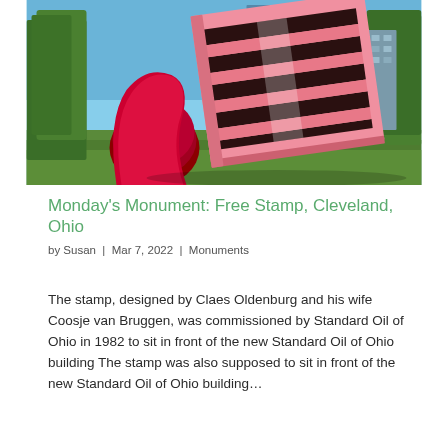[Figure (photo): Outdoor photo of a large sculptural stamp artwork with red and pink colors, set on a grass lawn with modern glass office buildings and trees in the background. The sculpture titled Free Stamp appears to be a giant rubber stamp tilted at an angle.]
Monday's Monument: Free Stamp, Cleveland, Ohio
by Susan  |  Mar 7, 2022  |  Monuments
The stamp, designed by Claes Oldenburg and his wife Coosje van Bruggen, was commissioned by Standard Oil of Ohio in 1982 to sit in front of the new Standard Oil of Ohio building The stamp was also supposed to sit in front of the new Standard Oil of Ohio building…